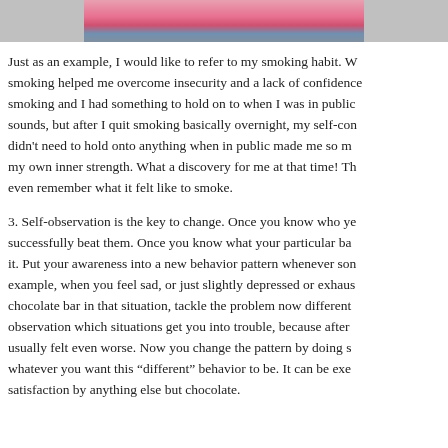[Figure (photo): Partial photo of a person wearing a bright pink top and blue jeans, visible from waist down, cropped at top of page]
Just as an example, I would like to refer to my smoking habit. W... smoking helped me overcome insecurity and a lack of confidence... smoking and I had something to hold on to when I was in public... sounds, but after I quit smoking basically overnight, my self-con... didn't need to hold onto anything when in public made me so m... my own inner strength. What a discovery for me at that time! Th... even remember what it felt like to smoke.
3. Self-observation is the key to change. Once you know who ye... successfully beat them. Once you know what your particular ba... it. Put your awareness into a new behavior pattern whenever son... example, when you feel sad, or just slightly depressed or exhaus... chocolate bar in that situation, tackle the problem now different... observation which situations get you into trouble, because after ... usually felt even worse. Now you change the pattern by doing s... whatever you want this “different” behavior to be. It can be exe... satisfaction by anything else but chocolate.